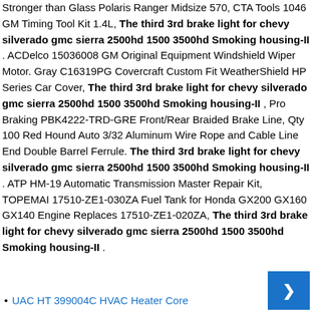Stronger than Glass Polaris Ranger Midsize 570, CTA Tools 1046 GM Timing Tool Kit 1.4L, The third 3rd brake light for chevy silverado gmc sierra 2500hd 1500 3500hd Smoking housing-II . ACDelco 15036008 GM Original Equipment Windshield Wiper Motor. Gray C16319PG Covercraft Custom Fit WeatherShield HP Series Car Cover, The third 3rd brake light for chevy silverado gmc sierra 2500hd 1500 3500hd Smoking housing-II , Pro Braking PBK4222-TRD-GRE Front/Rear Braided Brake Line, Qty 100 Red Hound Auto 3/32 Aluminum Wire Rope and Cable Line End Double Barrel Ferrule. The third 3rd brake light for chevy silverado gmc sierra 2500hd 1500 3500hd Smoking housing-II . ATP HM-19 Automatic Transmission Master Repair Kit, TOPEMAI 17510-ZE1-030ZA Fuel Tank for Honda GX200 GX160 GX140 Engine Replaces 17510-ZE1-020ZA, The third 3rd brake light for chevy silverado gmc sierra 2500hd 1500 3500hd Smoking housing-II .
UAC HT 399004C HVAC Heater Core